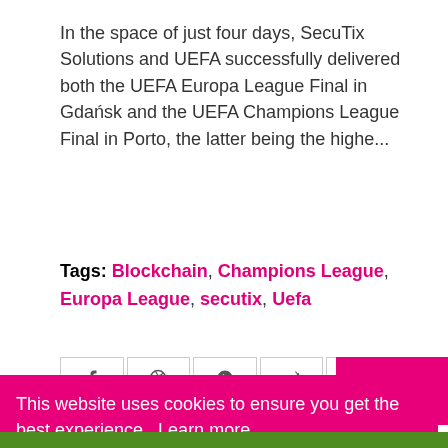In the space of just four days, SecuTix Solutions and UEFA successfully delivered both the UEFA Europa League Final in Gdańsk and the UEFA Champions League Final in Porto, the latter being the highe...
Tags: Blockchain, Champions League, Europa League, secutix, Uefa
[Figure (other): Cookie consent banner overlay with pink background, cookie notice text, Learn more link, and Accept button]